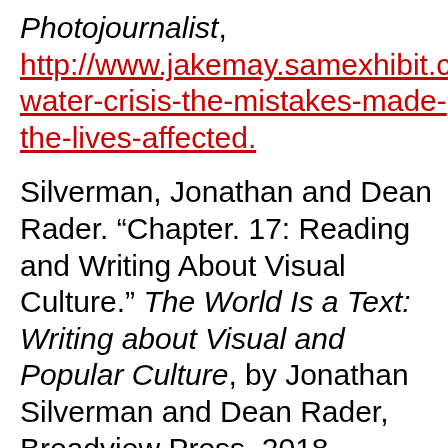Photojournalist, http://www.jakemay.samexhibit.com/fl water-crisis-the-mistakes-made-the-lives-affected.
Silverman, Jonathan and Dean Rader. “Chapter. 17: Reading and Writing About Visual Culture.” The World Is a Text: Writing about Visual and Popular Culture, by Jonathan Silverman and Dean Rader, Broadview Press, 2018.